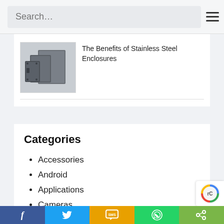Search…
[Figure (photo): Photo of stainless steel enclosures/boxes, dark grey metallic boxes of various sizes]
The Benefits of Stainless Steel Enclosures
Categories
Accessories
Android
Applications
Cameras
Cryptocurrency
Electro…
f  [Twitter]  SMS  [WhatsApp]  <